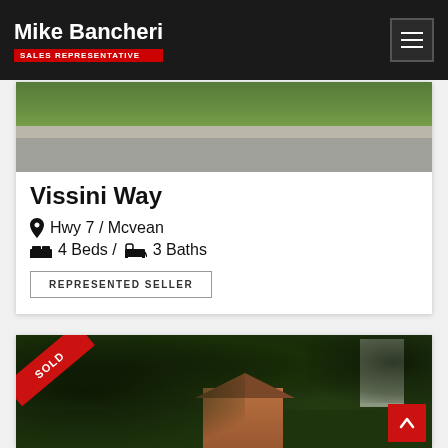Mike Bancheri — SALES REPRESENTATIVE
[Figure (photo): Exterior photo of Vissini Way property showing lawn and road]
Vissini Way
Hwy 7 / Mcvean
4 Beds / 3 Baths
REPRESENTED SELLER
[Figure (photo): Exterior photo of a property with trees, house visible, SOLD ribbon in top-left corner]